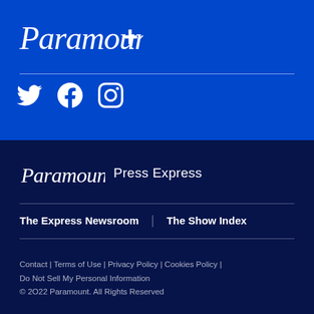[Figure (logo): Paramount+ logo in white italic script with blue background]
[Figure (infographic): Social media icons: Twitter bird, Facebook f, Instagram camera — all white on blue background]
Paramount Press Express
The Express Newsroom | The Show Index
Contact | Terms of Use | Privacy Policy | Cookies Policy | Do Not Sell My Personal Information © 2022 Paramount. All Rights Reserved